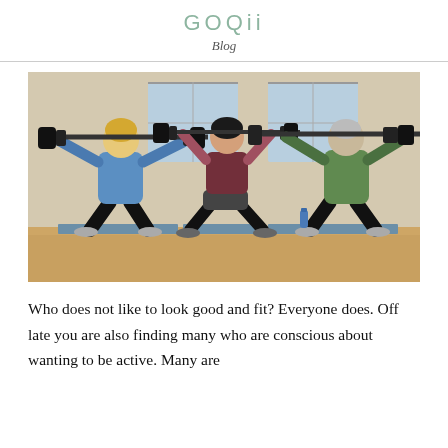GOQii
Blog
[Figure (photo): Three women doing barbell exercises in a gym. Left woman in blue shirt, center woman in maroon tank top in squatting position, right woman in green jacket. All holding barbells overhead. Gym with hardwood floor and blue exercise mats.]
Who does not like to look good and fit? Everyone does. Off late you are also finding many who are conscious about wanting to be active. Many are